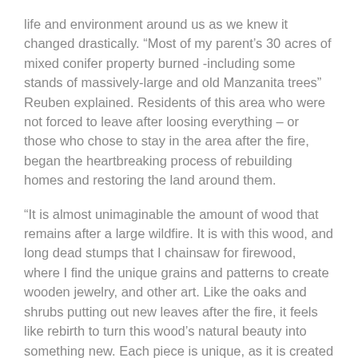life and environment around us as we knew it changed drastically. "Most of my parent's 30 acres of mixed conifer property burned -including some stands of massively-large and old Manzanita trees" Reuben explained. Residents of this area who were not forced to leave after loosing everything – or those who chose to stay in the area after the fire, began the heartbreaking process of rebuilding homes and restoring the land around them.
"It is almost unimaginable the amount of wood that remains after a large wildfire. It is with this wood, and long dead stumps that I chainsaw for firewood, where I find the unique grains and patterns to create wooden jewelry, and other art. Like the oaks and shrubs putting out new leaves after the fire, it feels like rebirth to turn this wood's natural beauty into something new. Each piece is unique, as it is created while cutting the wood and discovering how the grain can be used.